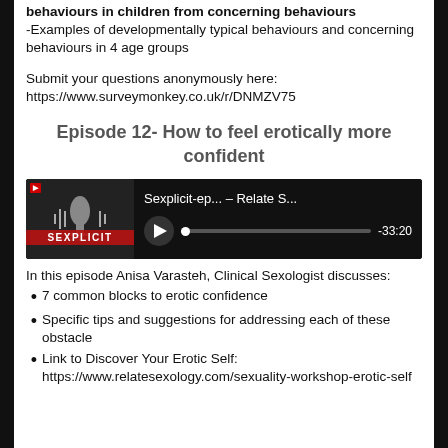behaviours in children from concerning behaviours
-Examples of developmentally typical behaviours and concerning behaviours in 4 age groups
Submit your questions anonymously here: https://www.surveymonkey.co.uk/r/DNMZV75
Episode 12- How to feel erotically more confident
[Figure (screenshot): Podcast player showing Sexplicit episode on Relate S... with play button and timer showing -33:20]
In this episode Anisa Varasteh, Clinical Sexologist discusses:
7 common blocks to erotic confidence
Specific tips and suggestions for addressing each of these obstacle
Link to Discover Your Erotic Self: https://www.relatesexology.com/sexuality-workshop-erotic-self